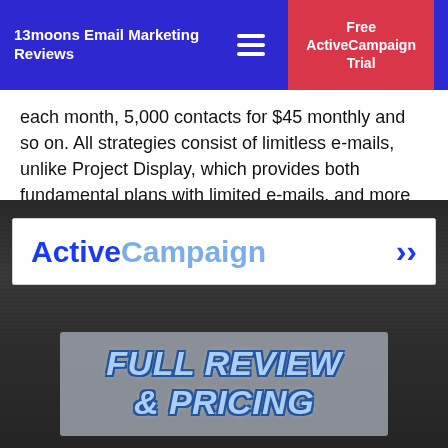13moons Email Marketing Reviews | Free ActiveCampaign Trial
each month, 5,000 contacts for $45 monthly and so on. All strategies consist of limitless e-mails, unlike Project Display, which provides both fundamental plans with limited e-mails, and more costly endless plans.
[Figure (screenshot): ActiveCampaign banner with logo and chevron arrow, overlaid on a dark wood texture background, with a 'FULL REVIEW & PRICING' text box below]